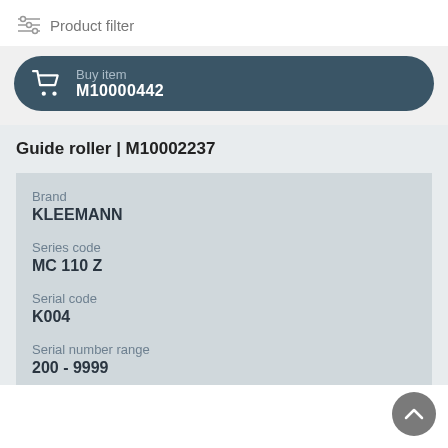Product filter
Buy item M10000442
Guide roller | M10002237
Brand
KLEEMANN
Series code
MC 110 Z
Serial code
K004
Serial number range
200 - 9999